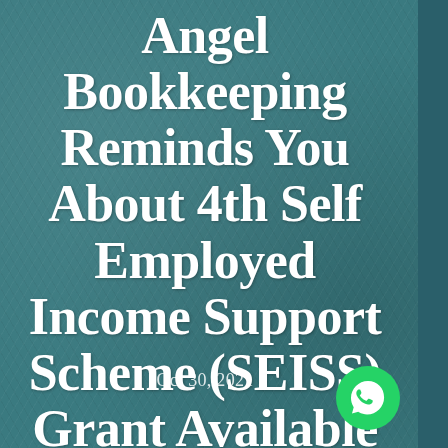Angel Bookkeeping Reminds You About 4th Self Employed Income Support Scheme (SEISS) Grant Available Now
Oct 30, 2021
[Figure (logo): WhatsApp icon - green circle with white phone/chat logo]